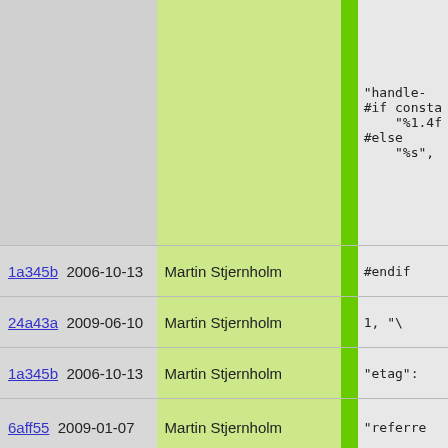"handle-
#if consta
    "%1.4f
#else
    "%s",
#endif
| commit | date | author | code |
| --- | --- | --- | --- |
| 1a345b | 2006-10-13 | Martin Stjernholm | #endif |
| 24a43a | 2009-06-10 | Martin Stjernholm | 1, "\" |
| 1a345b | 2006-10-13 | Martin Stjernholm | "etag": |
| 6aff55 | 2009-01-07 | Martin Stjernholm | "referre |
| 1a345b | 2006-10-13 | Martin Stjernholm | "referer

"user-ag

"user-ag

"user":

"user-id |